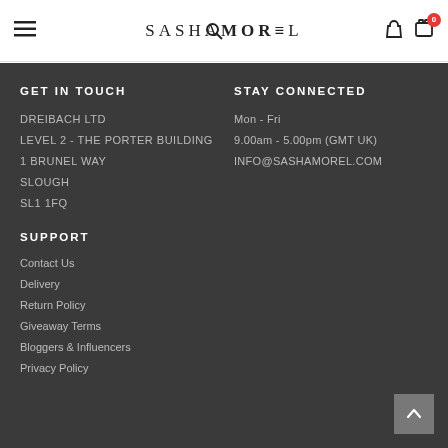SASHAMOREL — navigation header with hamburger menu, search, user, and cart icons
GET IN TOUCH
DREIBACH LTD
LEVEL 2 - THE PORTER BUILDING
1 BRUNEL WAY
SLOUGH
SL1 1FQ
STAY CONNECTED
Mon - Fri
9.00am - 5.00pm (GMT UK)
INFO@SASHAMOREL.COM
SUPPORT
Contact Us
Delivery
Return Policy
Giveaway Terms
Bloggers & Influencers
Privacy Policy